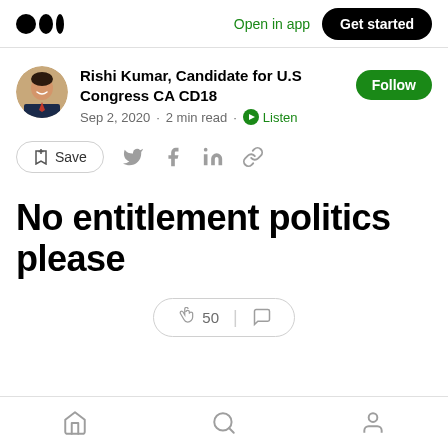Medium app header with logo, Open in app link, and Get started button
Rishi Kumar, Candidate for U.S Congress CA CD18
Sep 2, 2020 · 2 min read · Listen
[Figure (screenshot): Author avatar - portrait photo of Rishi Kumar]
Save (bookmark icon), Twitter, Facebook, LinkedIn, link share icons
No entitlement politics please
👏 50 | comment icon
Bottom navigation: Home, Search, Profile